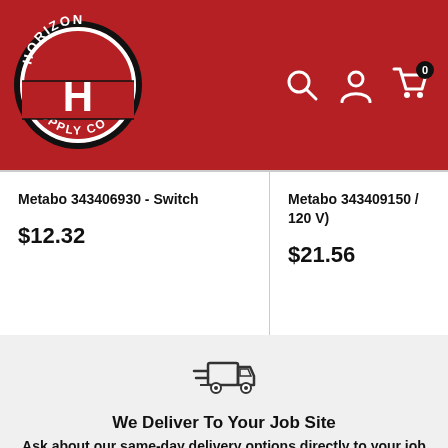[Figure (logo): Horizon Supply Co circular logo with red and black colors, white H letter in center]
Metabo 343406930 - Switch
$12.32
Metabo 343409150 / 120 V)
$21.56
[Figure (illustration): Fast delivery truck icon with speed lines]
We Deliver To Your Job Site
Ask about our same-day delivery options directly to your job site
[Figure (illustration): Box/package icon]